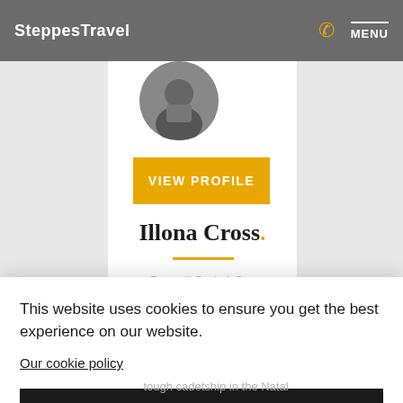SteppesTravel  MENU
[Figure (photo): Circular profile photo of Illona Cross, partially visible at top of card, person holding camera]
VIEW PROFILE
Illona Cross.
This website uses cookies to ensure you get the best experience on our website.
Our cookie policy
I AGREE
tough cadetship in the Natal